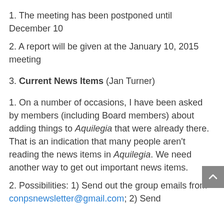1. The meeting has been postponed until December 10
2. A report will be given at the January 10, 2015 meeting
3. Current News Items (Jan Turner)
1. On a number of occasions, I have been asked by members (including Board members) about adding things to Aquilegia that were already there. That is an indication that many people aren't reading the news items in Aquilegia. We need another way to get out important news items.
2. Possibilities: 1) Send out the group emails from conpsnewsletter@gmail.com; 2) Send